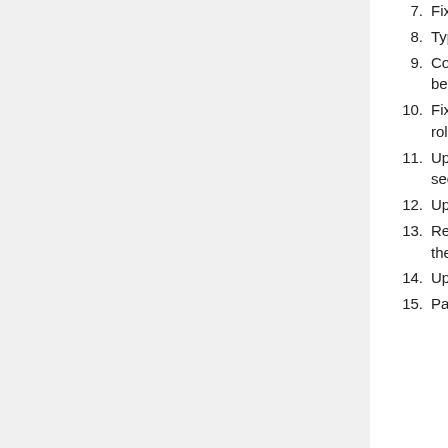7. Fixed Arabic text for Psalm 144:5,7.
8. Typographical corrections.
9. Commemoration of the Saints during Midnight Praises should not be shortened on the 29th of the month in customary mode.
10. Fixed bug that can cause text to display misaligned when not all roles are visible.
11. Updated spelling of departed patriarchs (available in the Papal section of the Index).
12. Updated feast days for St. Marina.
13. Removed all rites for the Apostles Fast and Feast on the 29th of the Coptic month.
14. Updated saint order.
15. Paone 28 added as a feast day